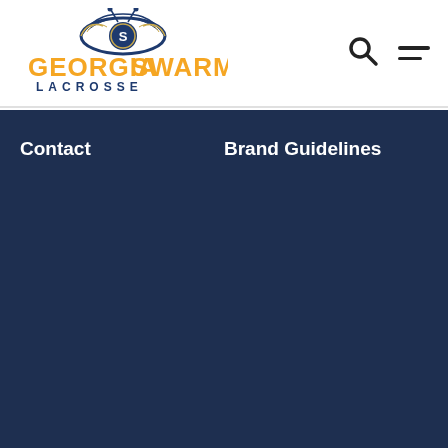[Figure (logo): Georgia Swarm Lacrosse logo with stylized bee/wasp emblem above orange GEORGIA SWARM text and navy LACROSSE text below]
[Figure (other): Search icon (magnifying glass) in top right header area]
[Figure (other): Hamburger menu icon (three horizontal lines) in top right header area]
Contact
Brand Guidelines